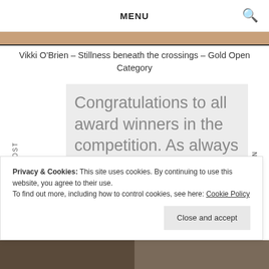MENU
Vikki O'Brien – Stillness beneath the crossings – Gold Open Category
Congratulations to all award winners in the competition. As always the standard of entry was extremely high and New College Lanarkshire is delighted to bring home these awards in recognition of the hard work and dedication of our students.
PREVIOUS POST
NEXT POST
Privacy & Cookies: This site uses cookies. By continuing to use this website, you agree to their use.
To find out more, including how to control cookies, see here: Cookie Policy